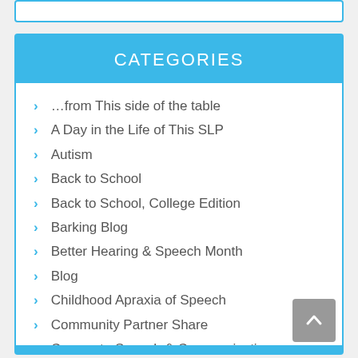CATEGORIES
...from This side of the table
A Day in the Life of This SLP
Autism
Back to School
Back to School, College Edition
Barking Blog
Better Hearing & Speech Month
Blog
Childhood Apraxia of Speech
Community Partner Share
Corporate Speech & Communication